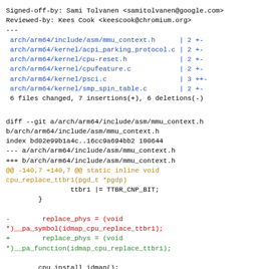Signed-off-by: Sami Tolvanen <samitolvanen@google.com>
Reviewed-by: Kees Cook <keescook@chromium.org>
---
 arch/arm64/include/asm/mmu_context.h      | 2 +-
 arch/arm64/kernel/acpi_parking_protocol.c | 2 +-
 arch/arm64/kernel/cpu-reset.h             | 2 +-
 arch/arm64/kernel/cpufeature.c            | 2 +-
 arch/arm64/kernel/psci.c                  | 3 ++-
 arch/arm64/kernel/smp_spin_table.c        | 2 +-
 6 files changed, 7 insertions(+), 6 deletions(-)
diff --git a/arch/arm64/include/asm/mmu_context.h
b/arch/arm64/include/asm/mmu_context.h
index bd02e99b1a4c..16cc9a694bb2 100644
--- a/arch/arm64/include/asm/mmu_context.h
+++ b/arch/arm64/include/asm/mmu_context.h
@@ -140,7 +140,7 @@ static inline void
cpu_replace_ttbr1(pgd_t *pgdp)
                ttbr1 |= TTBR_CNP_BIT;
        }

-        replace_phys = (void
*)__pa_symbol(idmap_cpu_replace_ttbr1);
+        replace_phys = (void
*)__pa_function(idmap_cpu_replace_ttbr1);

        cpu_install_idmap();
        replace_phys(ttbr1);
diff --git a/arch/arm64/kernel/acpi_parking_protocol.c
b/arch/arm64/kernel/acpi_parking_protocol.c